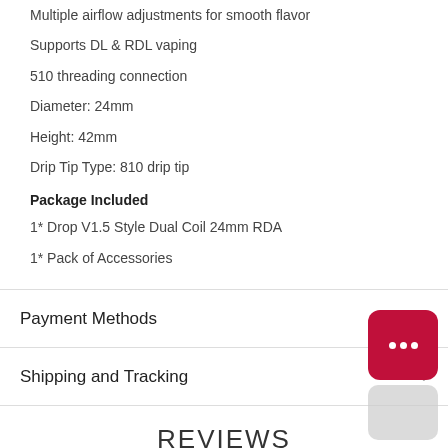Multiple airflow adjustments for smooth flavor
Supports DL & RDL vaping
510 threading connection
Diameter: 24mm
Height: 42mm
Drip Tip Type: 810 drip tip
Package Included
1* Drop V1.5 Style Dual Coil 24mm RDA
1* Pack of Accessories
Payment Methods
Shipping and Tracking
REVIEWS